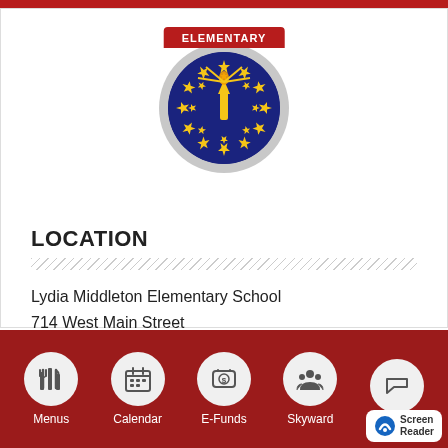[Figure (logo): Lydia Middleton Elementary School badge logo with Indiana state seal on blue circle, red ribbon banner on top reading ELEMENTARY]
LOCATION
Lydia Middleton Elementary School
714 West Main Street
[Figure (infographic): Bottom navigation bar with icons for Menus, Calendar, E-Funds, Skyward, and Screen Reader on dark red background]